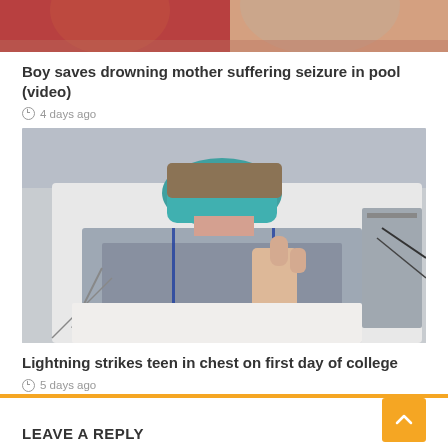[Figure (photo): Top portion of a photo showing two people, partially cropped, with reddish/warm tones at top]
Boy saves drowning mother suffering seizure in pool (video)
4 days ago
[Figure (photo): Person in hospital gown and teal/green surgical mask lying in a hospital bed giving a thumbs up]
Lightning strikes teen in chest on first day of college
5 days ago
LEAVE A REPLY